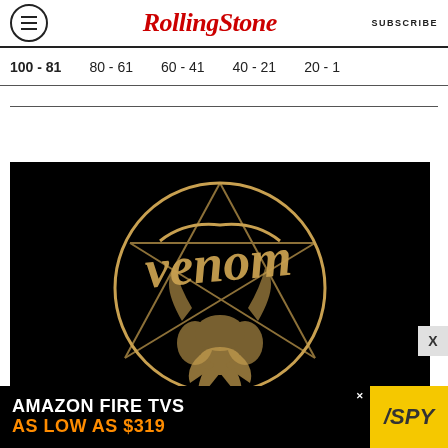RollingStone SUBSCRIBE
100 - 81   80 - 61   60 - 41   40 - 21   20 - 1
[Figure (logo): Venom band logo in gold/tan on black background, stylized gothic lettering within a circle with pentagram imagery]
[Figure (infographic): Amazon Fire TVS advertisement banner: 'AMAZON FIRE TVS AS LOW AS $319' with SPY logo on yellow background]